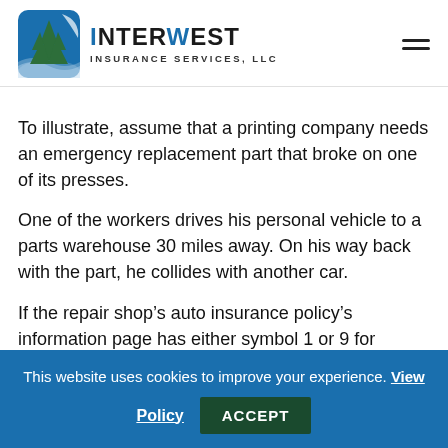InterWest Insurance Services, LLC
To illustrate, assume that a printing company needs an emergency replacement part that broke on one of its presses.
One of the workers drives his personal vehicle to a parts warehouse 30 miles away. On his way back with the part, he collides with another car.
If the repair shop’s auto insurance policy’s information page has either symbol 1 or 9 for
This website uses cookies to improve your experience. View Policy ACCEPT